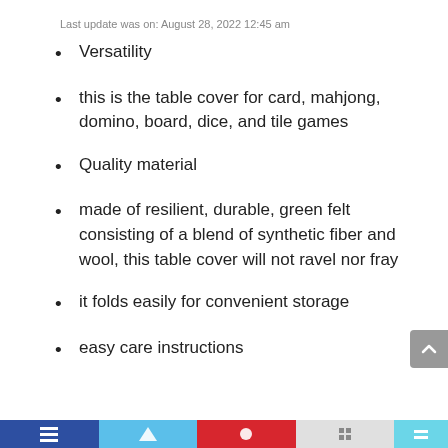Last update was on: August 28, 2022 12:45 am
Versatility
this is the table cover for card, mahjong, domino, board, dice, and tile games
Quality material
made of resilient, durable, green felt consisting of a blend of synthetic fiber and wool, this table cover will not ravel nor fray
it folds easily for convenient storage
easy care instructions
[bottom navigation bar]